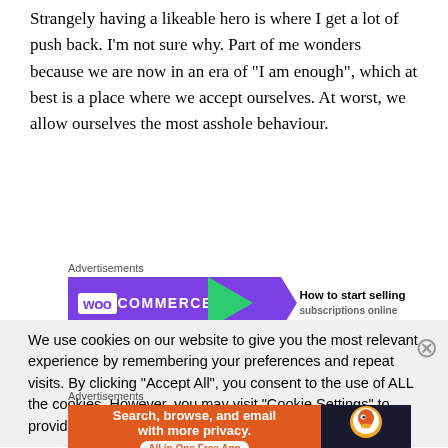Strangely having a likeable hero is where I get a lot of push back. I'm not sure why. Part of me wonders because we are now in an era of “I am enough”, which at best is a place where we accept ourselves. At worst, we allow ourselves the most asshole behaviour.
[Figure (infographic): WooCommerce advertisement banner: purple background with WooCommerce logo on left, green arrow shape in middle, white right section with text 'How to start selling subscriptions online' and orange accent circle]
We use cookies on our website to give you the most relevant experience by remembering your preferences and repeat visits. By clicking “Accept All”, you consent to the use of ALL the cookies. However, you may visit "Cookie Settings" to provide a controlled consent.
[Figure (infographic): DuckDuckGo advertisement banner: orange left section with text 'Search, browse, and email with more privacy. All in One Free App', dark right section with DuckDuckGo duck logo]